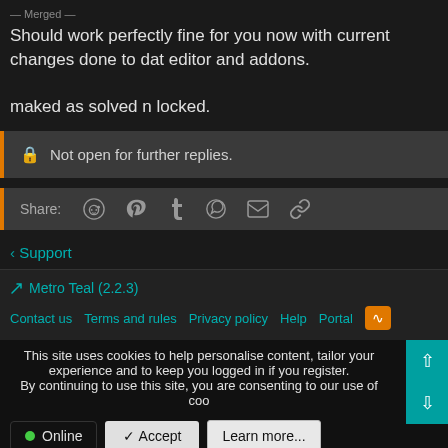— Merged —
Should work perfectly fine for you now with current changes done to dat editor and addons.

maked as solved n locked.
Not open for further replies.
Share:
< Support
Metro Teal (2.2.3)
Contact us   Terms and rules   Privacy policy   Help   Portal
This site uses cookies to help personalise content, tailor your experience and to keep you logged in if you register.
By continuing to use this site, you are consenting to our use of coo
Online
Accept
Learn more...